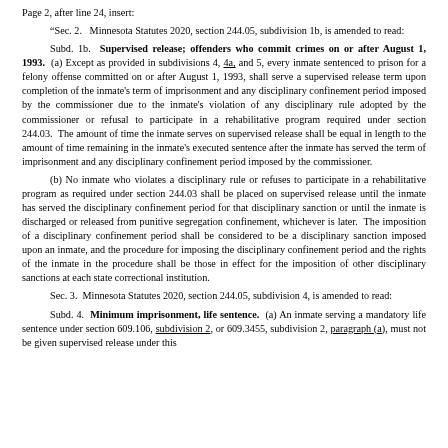Page 2, after line 24, insert:
"Sec. 2.  Minnesota Statutes 2020, section 244.05, subdivision 1b, is amended to read:
Subd. 1b.  Supervised release; offenders who commit crimes on or after August 1, 1993.  (a) Except as provided in subdivisions 4, 4a, and 5, every inmate sentenced to prison for a felony offense committed on or after August 1, 1993, shall serve a supervised release term upon completion of the inmate's term of imprisonment and any disciplinary confinement period imposed by the commissioner due to the inmate's violation of any disciplinary rule adopted by the commissioner or refusal to participate in a rehabilitative program required under section 244.03.  The amount of time the inmate serves on supervised release shall be equal in length to the amount of time remaining in the inmate's executed sentence after the inmate has served the term of imprisonment and any disciplinary confinement period imposed by the commissioner.
(b) No inmate who violates a disciplinary rule or refuses to participate in a rehabilitative program as required under section 244.03 shall be placed on supervised release until the inmate has served the disciplinary confinement period for that disciplinary sanction or until the inmate is discharged or released from punitive segregation confinement, whichever is later.  The imposition of a disciplinary confinement period shall be considered to be a disciplinary sanction imposed upon an inmate, and the procedure for imposing the disciplinary confinement period and the rights of the inmate in the procedure shall be those in effect for the imposition of other disciplinary sanctions at each state correctional institution.
Sec. 3.  Minnesota Statutes 2020, section 244.05, subdivision 4, is amended to read:
Subd. 4.  Minimum imprisonment, life sentence.  (a) An inmate serving a mandatory life sentence under section 609.106, subdivision 2, or 609.3455, subdivision 2, paragraph (a), must not be given supervised release under this